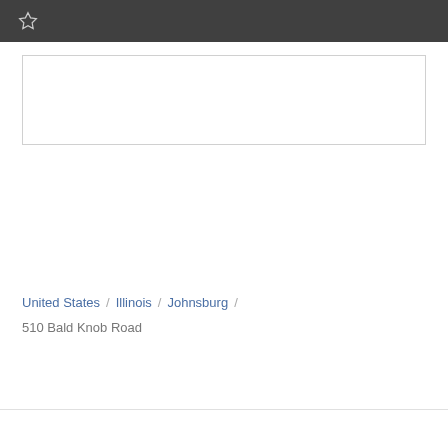[Figure (screenshot): Dark header bar with a star/favorite icon]
BEDS   BATHS
United States / Illinois / Johnsburg /
510 Bald Knob Road